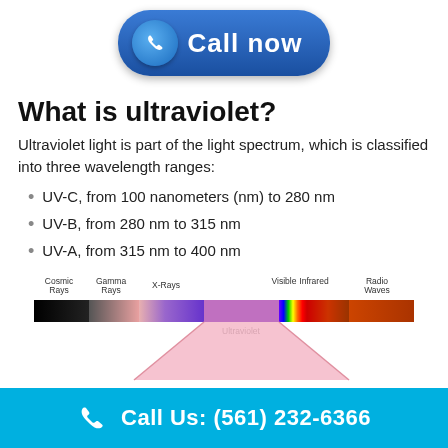[Figure (illustration): Blue rounded 'Call now' button with phone icon on the left and white bold text 'Call now']
What is ultraviolet?
Ultraviolet light is part of the light spectrum, which is classified into three wavelength ranges:
UV-C, from 100 nanometers (nm) to 280 nm
UV-B, from 280 nm to 315 nm
UV-A, from 315 nm to 400 nm
[Figure (infographic): Electromagnetic spectrum diagram showing Cosmic Rays, Gamma Rays, X-Rays, Ultraviolet (highlighted with pink triangle), Visible, Infrared, and Radio Waves, with a pink triangular zoom into the Ultraviolet region]
Call Us: (561) 232-6366